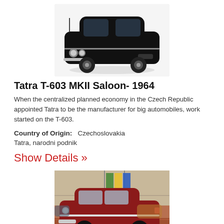[Figure (photo): Black Tatra T-603 MKII Saloon car photographed from front-right angle on white background]
Tatra T-603 MKII Saloon- 1964
When the centralized planned economy in the Czech Republic appointed Tatra to be the manufacturer for big automobiles, work started on the T-603.
Country of Origin:   Czechoslovakia
Tatra, narodni podnik
Show Details »
[Figure (photo): Red Tatra saloon car parked inside a museum or showroom, photographed from side/front-left angle]